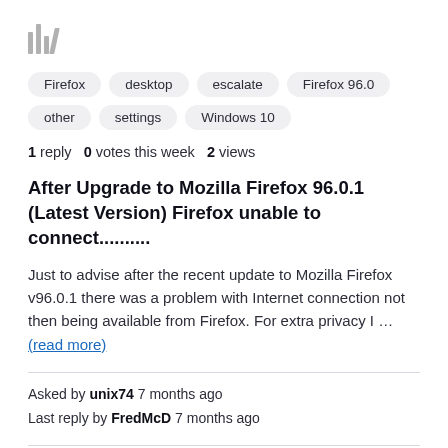[Figure (icon): Vertical bar chart icon (library/stack bars icon) in grey]
Firefox
desktop
escalate
Firefox 96.0
other
settings
Windows 10
1 reply   0 votes this week   2 views
After Upgrade to Mozilla Firefox 96.0.1 (Latest Version) Firefox unable to connect..........
Just to advise after the recent update to Mozilla Firefox v96.0.1 there was a problem with Internet connection not then being available from Firefox. For extra privacy I … (read more)
Asked by unix74 7 months ago
Last reply by FredMcD 7 months ago